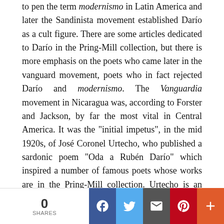to pen the term modernismo in Latin America and later the Sandinista movement established Darío as a cult figure. There are some articles dedicated to Darío in the Pring-Mill collection, but there is more emphasis on the poets who came later in the vanguard movement, poets who in fact rejected Darío and modernismo. The Vanguardia movement in Nicaragua was, according to Forster and Jackson, by far the most vital in Central America. It was the "initial impetus", in the mid 1920s, of José Coronel Urtecho, who published a sardonic poem "Oda a Rubén Darío" which inspired a number of famous poets whose works are in the Pring-Mill collection. Urtecho is an important figure in Nicaragua both before and after the revolution and his support and enthusiasm for the new Nicaragua is depicted in his poem Conversación con Carlos, with engravings by Graciale Azcarate and Tony Capellán (1986), about his time with the founder of the Frente Sandinista de Liberación Nacional (FSLN), Carlos
0 SHARES | Facebook | Twitter | Email | Pinterest | More